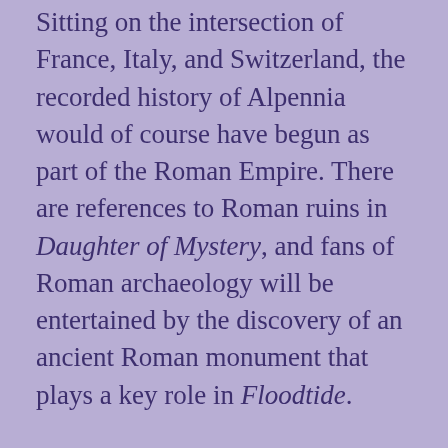Sitting on the intersection of France, Italy, and Switzerland, the recorded history of Alpennia would of course have begun as part of the Roman Empire. There are references to Roman ruins in Daughter of Mystery, and fans of Roman archaeology will be entertained by the discovery of an ancient Roman monument that plays a key role in Floodtide.
As a consequence, Alpennia will have a Romance language, but likely with a Germanic substrate entering during the Migration Era. When I needed to build a “look and feel” for Alpennian names and vocabulary, I wanted something that was recognizably central European but not quite like any existing Romance language. I settled on using the (fairly fragmentary) written records of the Langobardic language as inspiration for the